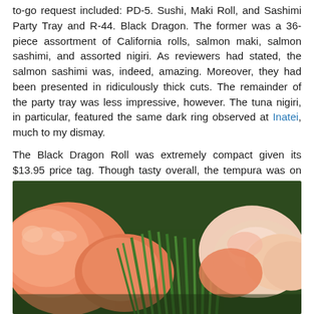to-go request included: PD-5. Sushi, Maki Roll, and Sashimi Party Tray and R-44. Black Dragon. The former was a 36-piece assortment of California rolls, salmon maki, salmon sashimi, and assorted nigiri. As reviewers had stated, the salmon sashimi was, indeed, amazing. Moreover, they had been presented in ridiculously thick cuts. The remainder of the party tray was less impressive, however. The tuna nigiri, in particular, featured the same dark ring observed at Inatei, much to my dismay.

The Black Dragon Roll was extremely compact given its $13.95 price tag. Though tasty overall, the tempura was on the soggy side while the unagi was limp.
It is also worth mentioning that the pickled pink ginger had been chopped so fine that they were akin to scraps.
[Figure (photo): Close-up photo of salmon sashimi slices arranged with green garnish (grass-like decoration) on a plate, alongside what appears to be shrimp or other seafood.]